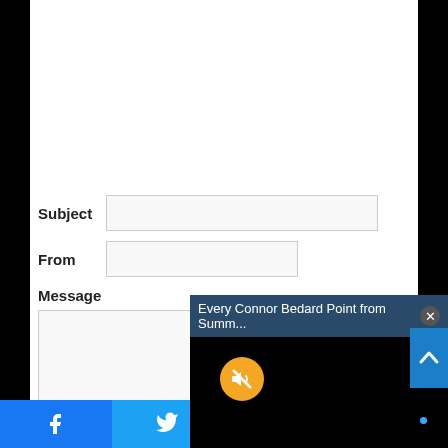Subject
From
Message
[Figure (screenshot): Video popup overlay with title 'Every Connor Bedard Point from Summ...' with a mute button (orange circle with speaker-off icon) and a blue dot on dark background, with a close (X) button]
[Figure (screenshot): Social share bar with Facebook, Twitter, WhatsApp, and Telegram icons in blue, light blue, green, and dark blue respectively]